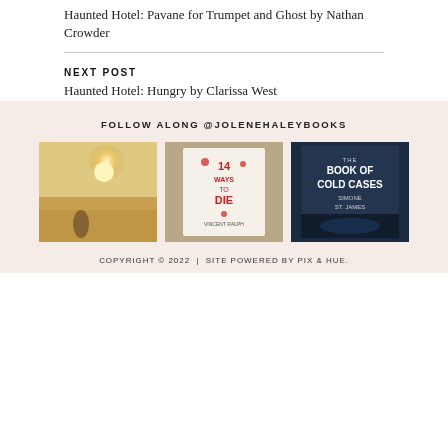Haunted Hotel: Pavane for Trumpet and Ghost by Nathan Crowder
NEXT POST
Haunted Hotel: Hungry by Clarissa West
FOLLOW ALONG @JOLENEHALEYBOOKS
[Figure (photo): Person standing on a beach at sunset with bright sunlight]
[Figure (photo): Book cover: 14 Ways to Die by Vincent Ralph]
[Figure (photo): Book cover: The Book of Cold Cases by Simone St. James]
COPYRIGHT © 2022  |  SITE POWERED BY PIX & HUE.